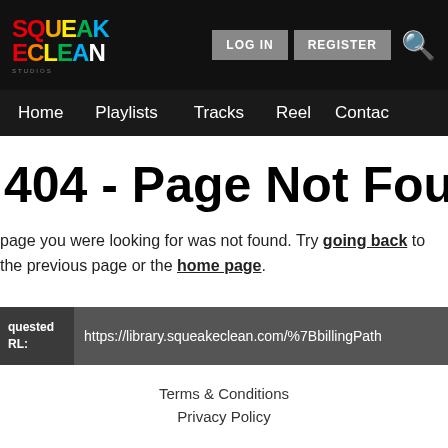SQUEAK ECLEAN - LOG IN | REGISTER | Home | Playlists | Tracks | Reel | Contact
404 - Page Not Found
page you were looking for was not found. Try going back to the previous page or the home page.
Requested URL: https://library.squeakeclean.com/%7BbillingPath
Terms & Conditions
Privacy Policy